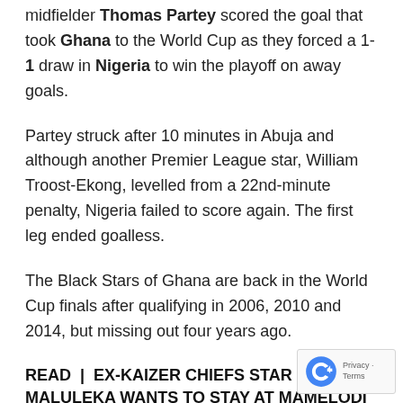midfielder Thomas Partey scored the goal that took Ghana to the World Cup as they forced a 1-1 draw in Nigeria to win the playoff on away goals.
Partey struck after 10 minutes in Abuja and although another Premier League star, William Troost-Ekong, levelled from a 22nd-minute penalty, Nigeria failed to score again. The first leg ended goalless.
The Black Stars of Ghana are back in the World Cup finals after qualifying in 2006, 2010 and 2014, but missing out four years ago.
READ | EX-KAIZER CHIEFS STAR MALULEKA WANTS TO STAY AT MAMELODI SUNDOWNS
The defeat was a massive blow for favourites Nigeria who were chasing a seventh appearance in eight attempts since